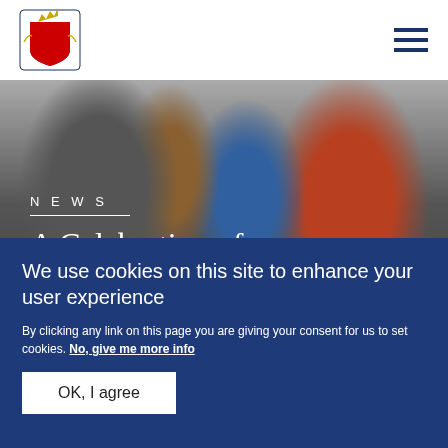[Figure (logo): UK Government / Royal coat of arms logo in top left corner]
[Figure (photo): Outdoor celebration photo showing people in ceremonial dress including a clergy member in red vestments and a woman in a blue outfit, shaking hands with others]
NEWS
A Celebration of Shakespeare at
We use cookies on this site to enhance your user experience
By clicking any link on this page you are giving your consent for us to set cookies. No, give me more info
OK, I agree